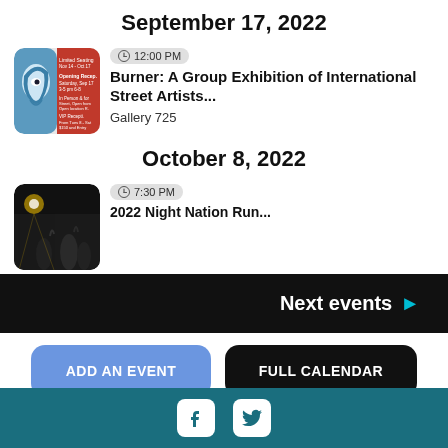September 17, 2022
[Figure (photo): Thumbnail image for Burner exhibition - stylized face graphic and red text flyer]
12:00 PM
Burner: A Group Exhibition of International Street Artists...
Gallery 725
October 8, 2022
[Figure (photo): Thumbnail image for 2022 Night Nation Run - dark concert/event scene]
7:30 PM
2022 Night Nation Run...
Next events ▶
ADD AN EVENT
FULL CALENDAR
Facebook and Twitter social icons